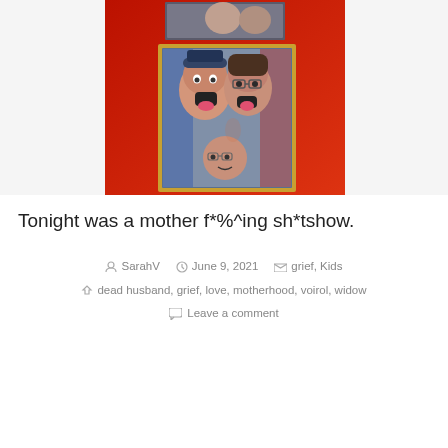[Figure (photo): Photo booth strip showing three people making silly faces with tongues out, against a red background. Two adults and a child in a wooden-framed photo booth.]
Tonight was a mother f*%^ing sh*tshow.
SarahV  June 9, 2021  grief, Kids  dead husband, grief, love, motherhood, voirol, widow  Leave a comment